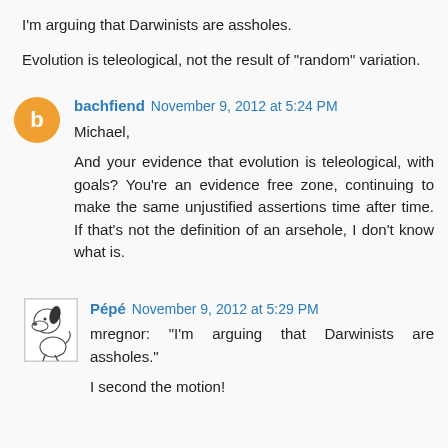I'm arguing that Darwinists are assholes.
Evolution is teleological, not the result of "random" variation.
bachfiend  November 9, 2012 at 5:24 PM
Michael,

And your evidence that evolution is teleological, with goals? You're an evidence free zone, continuing to make the same unjustified assertions time after time. If that's not the definition of an arsehole, I don't know what is.
Pépé  November 9, 2012 at 5:29 PM
mregnor: "I'm arguing that Darwinists are assholes."

I second the motion!